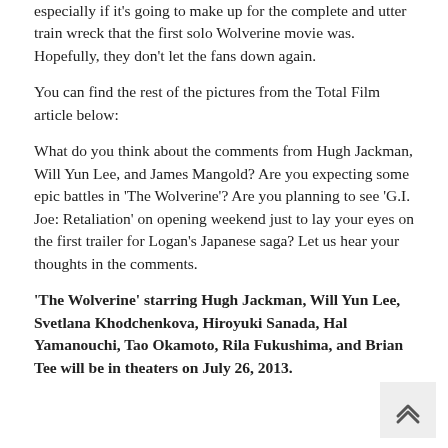especially if it's going to make up for the complete and utter train wreck that the first solo Wolverine movie was. Hopefully, they don't let the fans down again.
You can find the rest of the pictures from the Total Film article below:
What do you think about the comments from Hugh Jackman, Will Yun Lee, and James Mangold? Are you expecting some epic battles in 'The Wolverine'? Are you planning to see 'G.I. Joe: Retaliation' on opening weekend just to lay your eyes on the first trailer for Logan's Japanese saga? Let us hear your thoughts in the comments.
'The Wolverine' starring Hugh Jackman, Will Yun Lee, Svetlana Khodchenkova, Hiroyuki Sanada, Hal Yamanouchi, Tao Okamoto, Rila Fukushima, and Brian Tee will be in theaters on July 26, 2013.